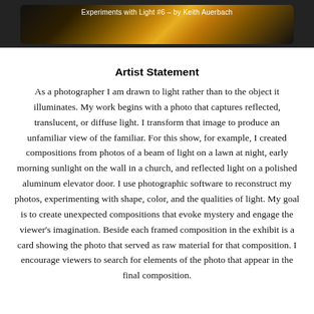[Figure (photo): Dark banner image showing abstract golden/amber light patterns on a dark background, with caption text 'Experiments with Light #6 – by Keith Auerbach' overlaid in white]
Artist Statement
As a photographer I am drawn to light rather than to the object it illuminates. My work begins with a photo that captures reflected, translucent, or diffuse light. I transform that image to produce an unfamiliar view of the familiar. For this show, for example, I created compositions from photos of a beam of light on a lawn at night, early morning sunlight on the wall in a church, and reflected light on a polished aluminum elevator door. I use photographic software to reconstruct my photos, experimenting with shape, color, and the qualities of light. My goal is to create unexpected compositions that evoke mystery and engage the viewer's imagination. Beside each framed composition in the exhibit is a card showing the photo that served as raw material for that composition. I encourage viewers to search for elements of the photo that appear in the final composition.